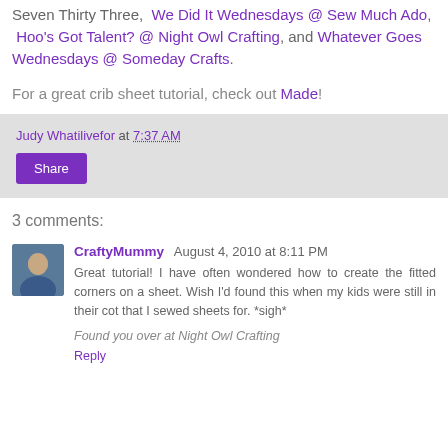Seven Thirty Three, We Did It Wednesdays @ Sew Much Ado, Hoo's Got Talent? @ Night Owl Crafting, and Whatever Goes Wednesdays @ Someday Crafts.
For a great crib sheet tutorial, check out Made!
Judy Whatilivefor at 7:37 AM
Share
3 comments:
CraftyMummy August 4, 2010 at 8:11 PM
Great tutorial! I have often wondered how to create the fitted corners on a sheet. Wish I'd found this when my kids were still in their cot that I sewed sheets for. *sigh*
Found you over at Night Owl Crafting
Reply